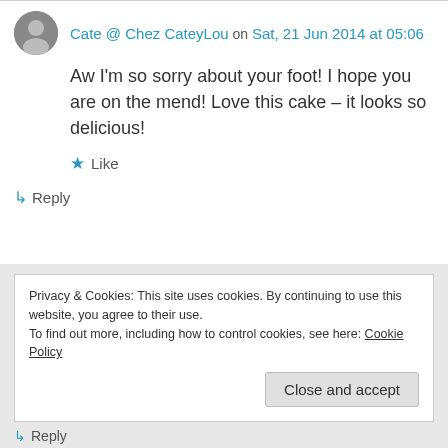Cate @ Chez CateyLou on Sat, 21 Jun 2014 at 05:06
Aw I'm so sorry about your foot! I hope you are on the mend! Love this cake – it looks so delicious!
★ Like
↳ Reply
Privacy & Cookies: This site uses cookies. By continuing to use this website, you agree to their use. To find out more, including how to control cookies, see here: Cookie Policy
Close and accept
↳ Reply